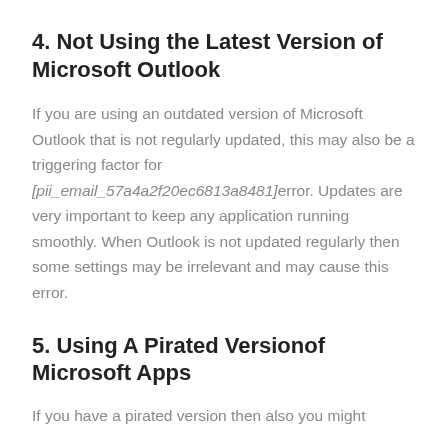4. Not Using the Latest Version of Microsoft Outlook
If you are using an outdated version of Microsoft Outlook that is not regularly updated, this may also be a triggering factor for [pii_email_57a4a2f20ec6813a8481] error. Updates are very important to keep any application running smoothly. When Outlook is not updated regularly then some settings may be irrelevant and may cause this error.
5. Using A Pirated Versionof Microsoft Apps
If you have a pirated version then also you might...